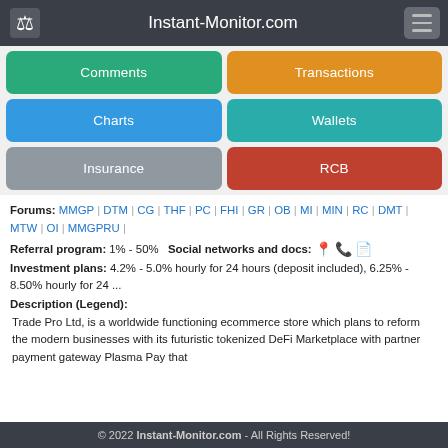Instant-Monitor.com
Comments
Transactions
Charts
Wallets
Insurance
RCB
Forums: MMGP | DTM | CG | THF | PC | FHI | GR | OB | MI | MIN | RC | DMT | MTW | OI | MMGPRU |
Referral program: 1% - 50%   Social networks and docs:
Investment plans: 4.2% - 5.0% hourly for 24 hours (deposit included), 6.25% - 8.50% hourly for 24 ...
Description (Legend):
Trade Pro Ltd, is a worldwide functioning ecommerce store which plans to reform the modern businesses with its futuristic tokenized DeFi Marketplace with partner payment gateway Plasma Pay that
© 2022 Instant-Monitor.com - All Rights Reserved!